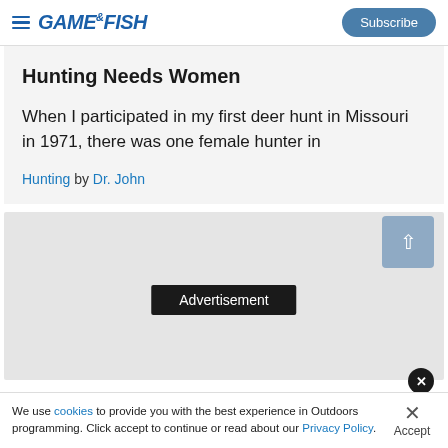GAME&FISH | Subscribe
Hunting Needs Women
When I participated in my first deer hunt in Missouri in 1971, there was one female hunter in
Hunting by Dr. John
[Figure (other): Advertisement placeholder area with dark label box reading 'Advertisement']
We use cookies to provide you with the best experience in Outdoors programming. Click accept to continue or read about our Privacy Policy.